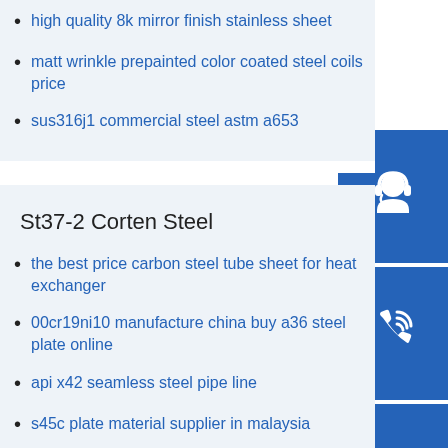high quality 8k mirror finish stainless sheet
matt wrinkle prepainted color coated steel coils price
sus316j1 commercial steel astm a653
[Figure (illustration): Customer service headset icon on blue square button]
[Figure (illustration): Phone/call icon on blue square button]
[Figure (illustration): Skype icon on blue square button]
St37-2 Corten Steel
the best price carbon steel tube sheet for heat exchanger
00cr19ni10 manufacture china buy a36 steel plate online
api x42 seamless steel pipe line
s45c plate material supplier in malaysia